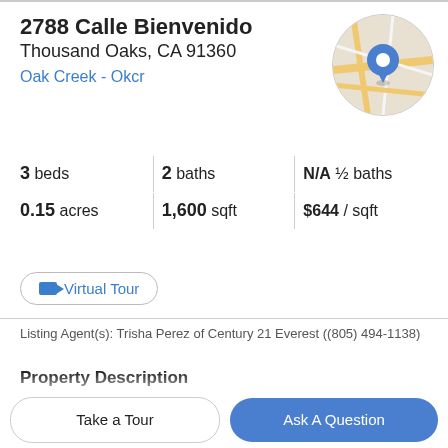2788 Calle Bienvenido
Thousand Oaks, CA 91360
Oak Creek - Okcr
[Figure (map): Circular map thumbnail with a blue location pin marker over street map of the area]
3 beds   2 baths   N/A ½ baths
0.15 acres   1,600 sqft   $644 / sqft
Virtual Tour
Listing Agent(s): Trisha Perez of Century 21 Everest ((805) 494-1138)
Property Description
Welcome home to this breathtaking single story nestled in the lovely community of Thousand Oaks! This home has with an open concept floor plan, a stunning community…